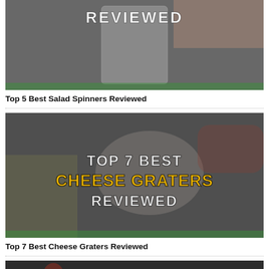[Figure (photo): Top half of a salad spinner review thumbnail image with 'REVIEWED' text visible at top, hands and a salad spinner in the background, partially cropped]
Top 5 Best Salad Spinners Reviewed
[Figure (photo): Thumbnail image for cheese graters review article. Text overlay reads 'TOP 7 BEST CHEESE GRATERS REVIEWED' with white and yellow text. Background shows a cheese grater with food items.]
Top 7 Best Cheese Graters Reviewed
[Figure (photo): Partial thumbnail image at bottom, partially cropped, dark background with some colorful food items visible]